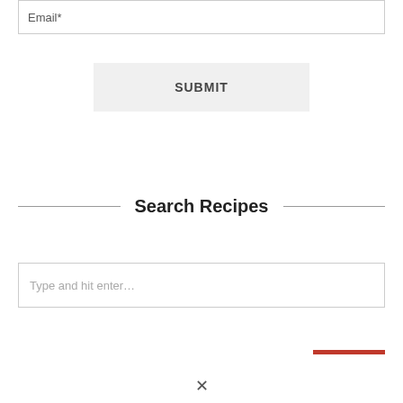Email*
SUBMIT
Search Recipes
Type and hit enter…